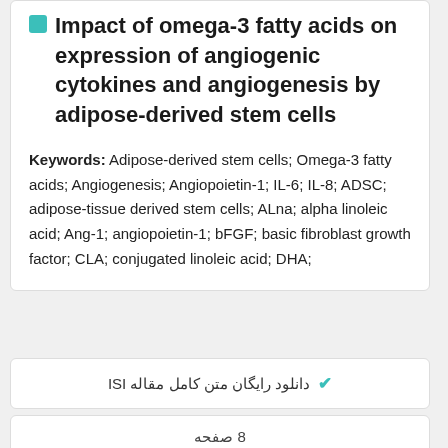Impact of omega-3 fatty acids on expression of angiogenic cytokines and angiogenesis by adipose-derived stem cells
Keywords: Adipose-derived stem cells; Omega-3 fatty acids; Angiogenesis; Angiopoietin-1; IL-6; IL-8; ADSC; adipose-tissue derived stem cells; ALna; alpha linoleic acid; Ang-1; angiopoietin-1; bFGF; basic fibroblast growth factor; CLA; conjugated linoleic acid; DHA;
دانلود رایگان متن کامل مقاله ISI
8 صفحه